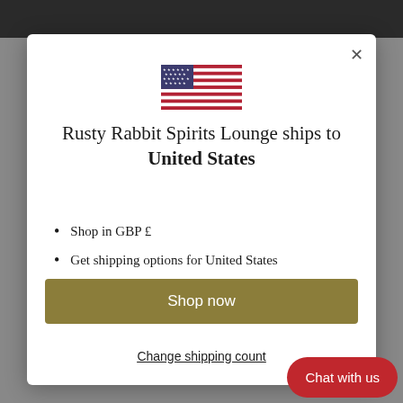[Figure (illustration): US flag emoji/illustration displayed at top center of modal]
Rusty Rabbit Spirits Lounge ships to United States
Shop in GBP £
Get shipping options for United States
Shop now
Change shipping country
Chat with us